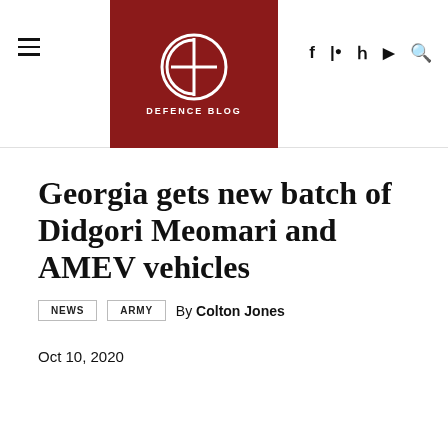Defence Blog
Georgia gets new batch of Didgori Meomari and AMEV vehicles
By Colton Jones
Oct 10, 2020